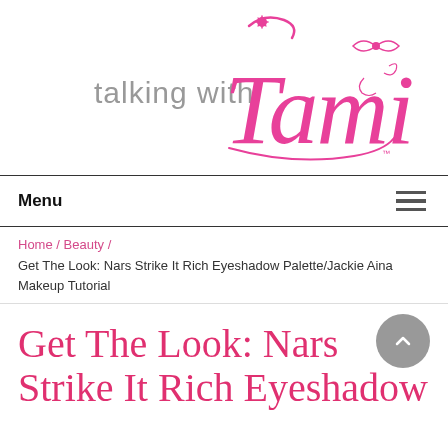[Figure (logo): Talking with Tami blog logo — 'talking with' in gray sans-serif and 'Tami' in large pink cursive script with decorative flourishes]
Menu
Home / Beauty / Get The Look: Nars Strike It Rich Eyeshadow Palette/Jackie Aina Makeup Tutorial
Get The Look: Nars Strike It Rich Eyeshadow